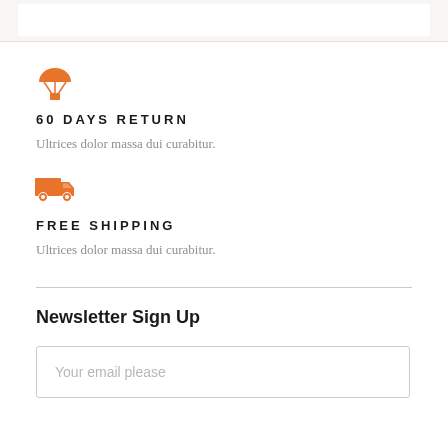[Figure (illustration): Orange parachute icon]
60 DAYS RETURN
Ultrices dolor massa dui curabitur.
[Figure (illustration): Orange delivery truck icon]
FREE SHIPPING
Ultrices dolor massa dui curabitur.
Newsletter Sign Up
Your email please